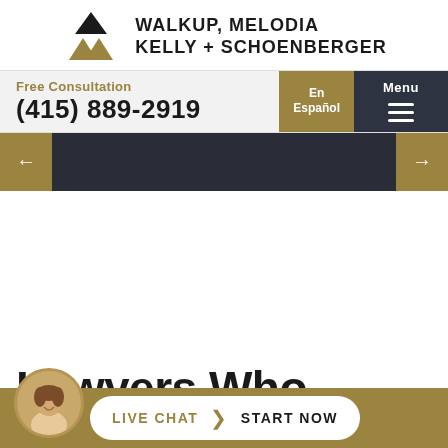[Figure (logo): Walkup, Melodia, Kelly + Schoenberger law firm logo with mountain/diamond geometric mark in black and gold]
WALKUP, MELODIA
KELLY + SCHOENBERGER
Free Consultation
(415) 889-2919
En Español
Menu
[Figure (other): Slider navigation with left arrow (gold), dark slider area, right arrow (gold)]
Lawyers Who
LIVE CHAT  START NOW